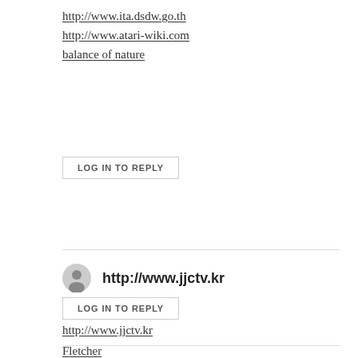http://www.ita.dsdw.go.th
http://www.atari-wiki.com
balance of nature
LOG IN TO REPLY
http://www.jjctv.kr
April 8, 2022 at 7:35 am
http://www.jjctv.kr
Fletcher
balance of nature
Fletcher
Fletcher
LOG IN TO REPLY